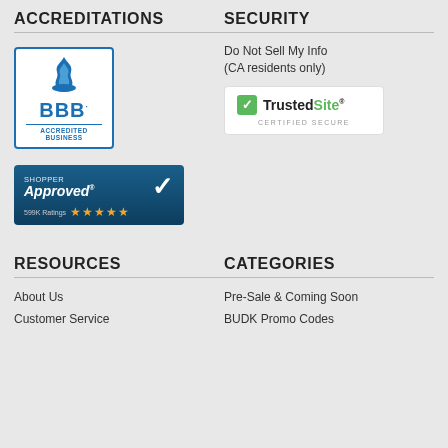ACCREDITATIONS
[Figure (logo): BBB Accredited Business logo in blue]
[Figure (logo): Shopper Approved badge with 5 stars and 599K Ratings]
SECURITY
Do Not Sell My Info
(CA residents only)
[Figure (logo): TrustedSite Certified Secure badge]
RESOURCES
About Us
Customer Service
CATEGORIES
Pre-Sale & Coming Soon
BUDK Promo Codes